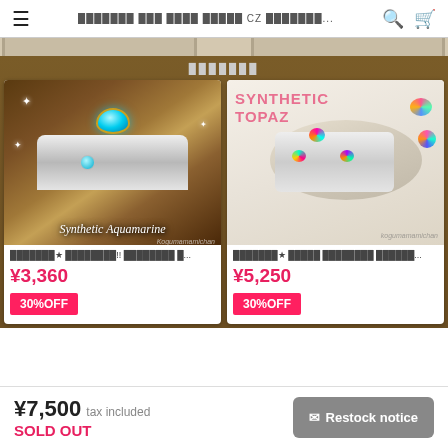☰  ███████ ███ ████ ██████ CZ ███████...  🔍  🛒
███████
[Figure (photo): Product card: Synthetic Aquamarine silver ring with blue gemstone, price ¥3,360, 30%OFF]
[Figure (photo): Product card: Synthetic Topaz colorful gemstone ring, price ¥5,250, 30%OFF]
¥7,500 tax included  SOLD OUT   ✉ Restock notice